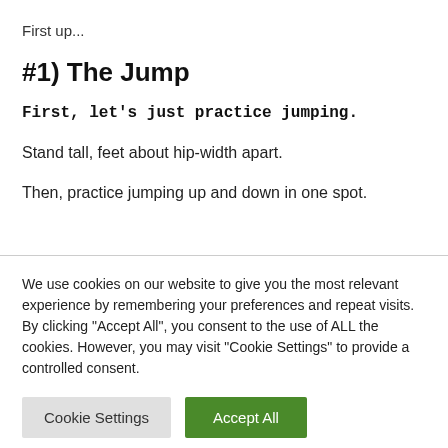First up...
#1) The Jump
First, let's just practice jumping.
Stand tall, feet about hip-width apart.
Then, practice jumping up and down in one spot.
We use cookies on our website to give you the most relevant experience by remembering your preferences and repeat visits. By clicking “Accept All”, you consent to the use of ALL the cookies. However, you may visit "Cookie Settings" to provide a controlled consent.